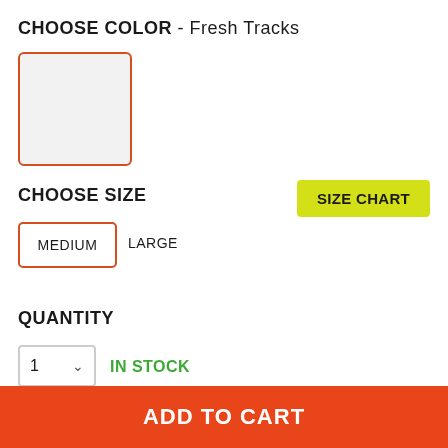CHOOSE COLOR - Fresh Tracks
[Figure (other): A light gray color swatch square with an orange-red border indicating selected color Fresh Tracks]
CHOOSE SIZE
SIZE CHART
MEDIUM
LARGE
QUANTITY
1  IN STOCK
ADD TO CART